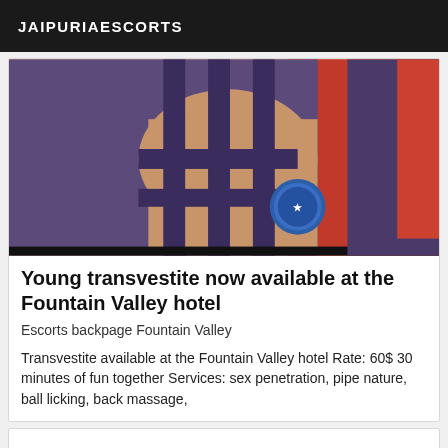JAIPURIAESCORTS
[Figure (photo): Close-up photo of a person's legs/thighs wearing dark strappy clothing with a circular badge/emblem visible]
Young transvestite now available at the Fountain Valley hotel
Escorts backpage Fountain Valley
Transvestite available at the Fountain Valley hotel Rate: 60$ 30 minutes of fun together Services: sex penetration, pipe nature, ball licking, back massage,